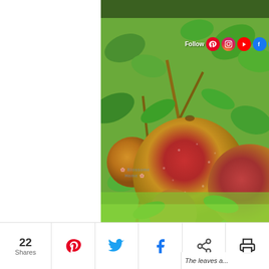[Figure (photo): Close-up photograph of round red-green pears hanging on a tree with green leaves, branches visible, sunny day with green grass in background. Watermark 'Blossome Home' visible in lower portion.]
Follow
22 Shares
The leaves a...